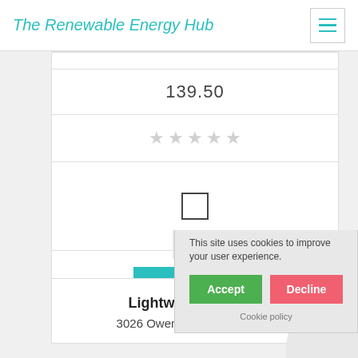The Renewable Energy Hub
| 139.50 |
| ★★★★★ (empty stars) |
| checkbox |
Get a Quote
Lightwave So...
3026 Owen Drive, Suite...
Approve The Cookies
This site uses cookies to improve your user experience.
Accept
Decline
Cookie policy